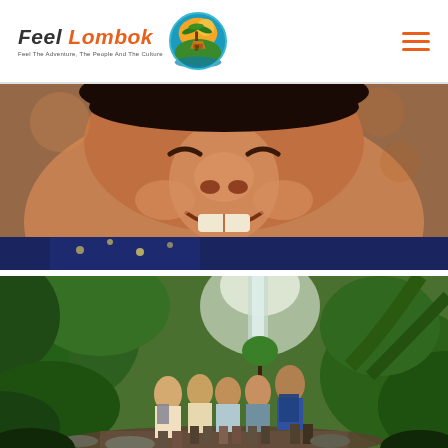[Figure (logo): Feel Lombok logo with text 'Feel Lombok' in italic serif font (Feel in dark, Lombok in orange) with tagline 'Feel The Adventure, The People And The Culture' and a circular icon showing a palm tree, hut, and sunset]
[Figure (photo): Close-up portrait of a smiling young child with warm brown skin, wearing a blue patterned shirt, photographed in warm tones]
[Figure (photo): Group of tourists hiking in a lush tropical jungle with a tall waterfall visible in the misty background, surrounded by dense green ferns and palm trees]